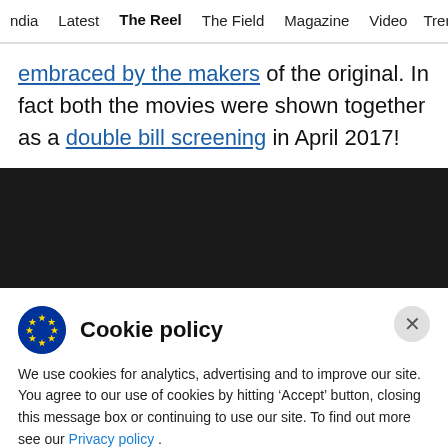ndia   Latest   The Reel   The Field   Magazine   Video   Trend
embraced by the makers of the original. In fact both the movies were shown together as a double bill screening in April 2017!
[Figure (other): Dark/black banner section]
Cookie policy
We use cookies for analytics, advertising and to improve our site. You agree to our use of cookies by hitting ‘Accept’ button, closing this message box or continuing to use our site. To find out more see our Privacy policy .
Accept